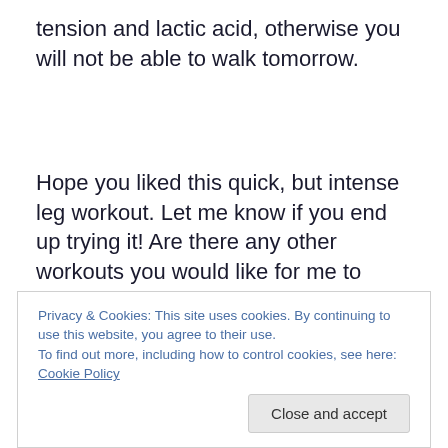tension and lactic acid, otherwise you will not be able to walk tomorrow.
Hope you liked this quick, but intense leg workout. Let me know if you end up trying it! Are there any other workouts you would like for me to post? Do you have any other ideas for topics? Let me know by contacting me at corestrengthalec@gmail.com
Privacy & Cookies: This site uses cookies. By continuing to use this website, you agree to their use.
To find out more, including how to control cookies, see here: Cookie Policy
Close and accept